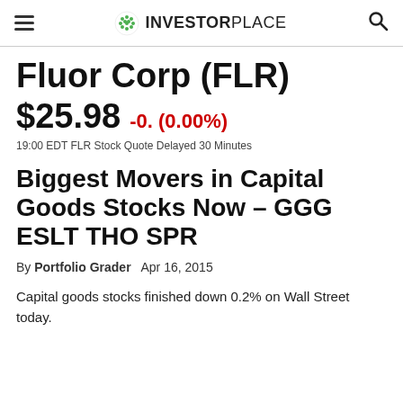INVESTORPLACE
Fluor Corp (FLR)
$25.98  -0. (0.00%)
19:00 EDT FLR Stock Quote Delayed 30 Minutes
Biggest Movers in Capital Goods Stocks Now – GGG ESLT THO SPR
By Portfolio Grader   Apr 16, 2015
Capital goods stocks finished down 0.2% on Wall Street today.